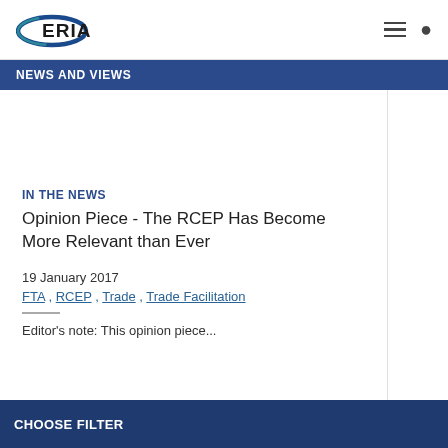[Figure (logo): ERIA logo with blue ellipse swoosh and bold ERIA text]
NEWS AND VIEWS
IN THE NEWS
Opinion Piece - The RCEP Has Become More Relevant than Ever
19 January 2017
FTA , RCEP , Trade , Trade Facilitation
Editor's note: This opinion piece...
CHOOSE FILTER